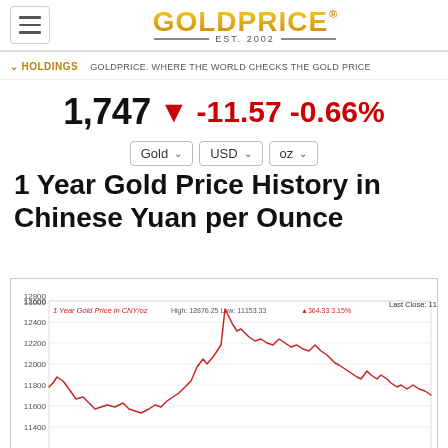GOLDPRICE® EST. 2002
HOLDINGS  GOLDPRICE. WHERE THE WORLD CHECKS THE GOLD PRICE
1,747 ▼ -11.57 -0.66%  Gold USD oz
1 Year Gold Price History in Chinese Yuan per Ounce
[Figure (continuous-plot): 1 year line chart of gold price in Chinese Yuan per ounce. Annotated with High: 12876.25 Low: 11153.33 +364.33 3.15%. Last Close: 11927.22. Y-axis ranges from approximately 11400 to 13000. The line shows a rise from around 11700 in early period, dips to near 11600, then rises sharply to a peak near 12850, then declines with volatility to around 12000, then drops toward 11600 at the right end.]